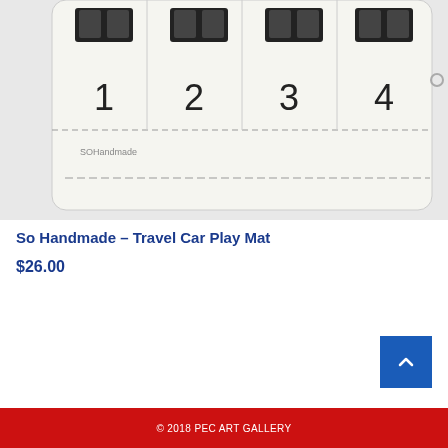[Figure (photo): Product photo of a travel car play mat showing a white fabric mat with numbered sections 1, 2, 3, 4 with small car icon holders at the top, and 'So Handmade' branding visible.]
So Handmade – Travel Car Play Mat
$26.00
© 2018 PEC ART GALLERY